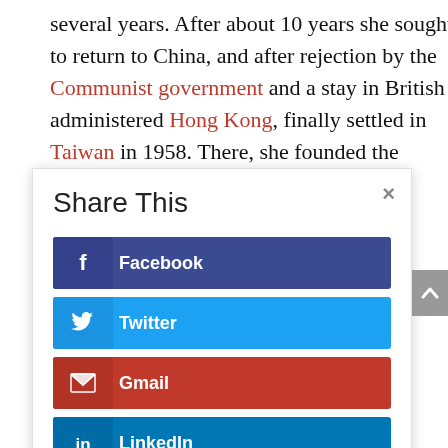several years. After about 10 years she sought to return to China, and after rejection by the Communist government and a stay in British administered Hong Kong, finally settled in Taiwan in 1958. There, she founded the
[Figure (screenshot): Share This overlay dialog with buttons for Facebook, Twitter, Gmail, and LinkedIn social sharing, with a close (×) button in the top right corner.]